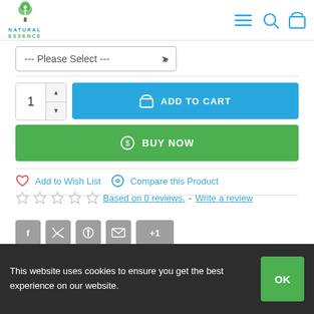[Figure (logo): Natural Essence logo with green tree icon and blue text]
[Figure (other): Navigation icons: hamburger menu, search, cart]
--- Please Select ---
ADD TO CART
BUY NOW
Add to Wish List   Compare this Product
Based on 0 reviews. - Write a review
Social share buttons: f, Twitter, Pinterest, Email, +1
This website uses cookies to ensure you get the best experience on our website.